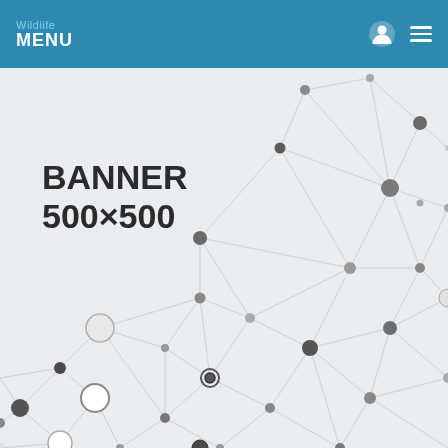Wildlife MENU
[Figure (illustration): Network graph / plexus background illustration with nodes (circles of varying sizes in gray tones) connected by lines forming a triangular mesh pattern on a light gray background, covering the right and lower portions of the banner area.]
BANNER 500x500